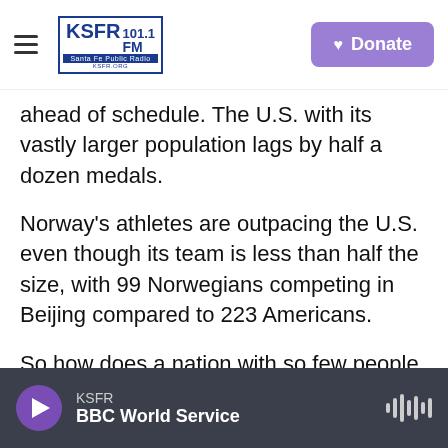KSFR 101.1 FM Santa Fe Public Radio | Donate
ahead of schedule. The U.S. with its vastly larger population lags by half a dozen medals.
Norway's athletes are outpacing the U.S. even though its team is less than half the size, with 99 Norwegians competing in Beijing compared to 223 Americans.
So how does a nation with so few people do it? The Norwegians have been asked this a lot in Beijing.
"It's a good question," said Birk Ruud, a member of Norway's freestyle ski team, who won a gold medal in the Olympic big air competition. "We're a country
KSFR | BBC World Service